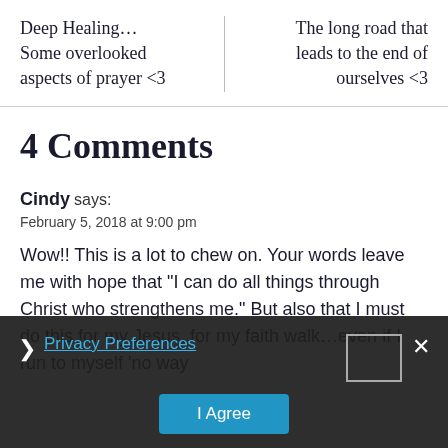Deep Healing… Some overlooked aspects of prayer <3
The long road that leads to the end of ourselves <3
4 Comments
Cindy says:
February 5, 2018 at 9:00 pm
Wow!! This is a lot to chew on. Your words leave me with hope that "I can do all things through Chris... strengthens me." But also that I must do this for my Jesus, for my faith walk…even if I run to myself 'no way
Privacy Preferences
I Agree